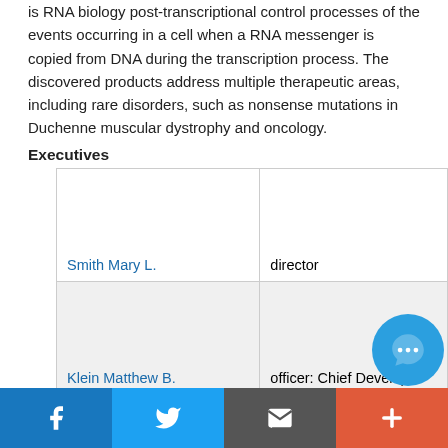is RNA biology post-transcriptional control processes of the events occurring in a cell when a RNA messenger is copied from DNA during the transcription process. The discovered products address multiple therapeutic areas, including rare disorders, such as nonsense mutations in Duchenne muscular dystrophy and oncology.
Executives
| Name | Role |
| --- | --- |
| Smith Mary L. | director |
| Klein Matthew B. | officer: Chief Developm... |
Social share bar: Facebook, Twitter, Email, Plus